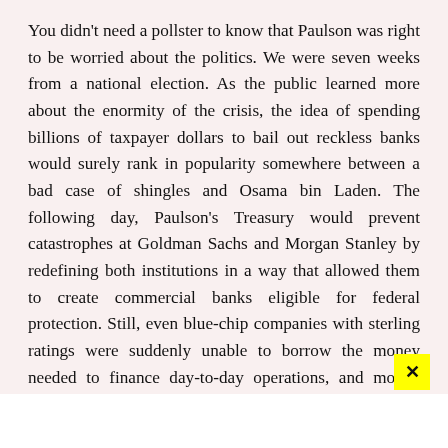You didn't need a pollster to know that Paulson was right to be worried about the politics. We were seven weeks from a national election. As the public learned more about the enormity of the crisis, the idea of spending billions of taxpayer dollars to bail out reckless banks would surely rank in popularity somewhere between a bad case of shingles and Osama bin Laden. The following day, Paulson's Treasury would prevent catastrophes at Goldman Sachs and Morgan Stanley by redefining both institutions in a way that allowed them to create commercial banks eligible for federal protection. Still, even blue-chip companies with sterling ratings were suddenly unable to borrow the money needed to finance day-to-day operations, and money market funds, previously considered as safe and liquid as cash, were now starting to buckle.